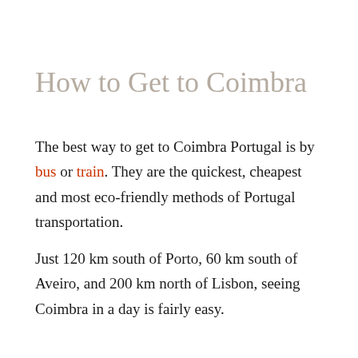How to Get to Coimbra
The best way to get to Coimbra Portugal is by bus or train. They are the quickest, cheapest and most eco-friendly methods of Portugal transportation.
Just 120 km south of Porto, 60 km south of Aveiro, and 200 km north of Lisbon, seeing Coimbra in a day is fairly easy.